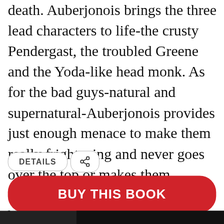death. Auberjonois brings the three lead characters to life-the crusty Pendergast, the troubled Greene and the Yoda-like head monk. As for the bad guys-natural and supernatural-Auberjonois provides just enough menace to make them really frightening and never goes over the top or makes them cartoonish. This might not be the best of Child and Preston's popular efforts, but under Auberjonois's expert guidance, it should keep listeners very diverted. Simultaneous release with the Grand Central hardcover (Reviews, July 16).